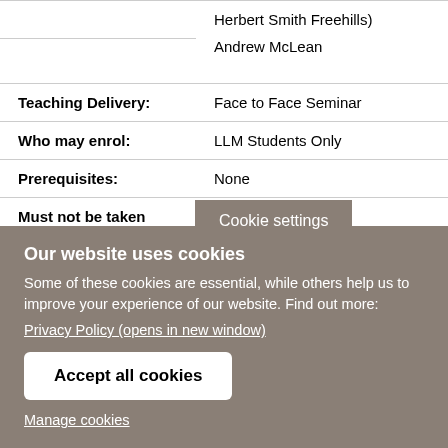Herbert Smith Freehills)
Andrew McLean
| Teaching Delivery: | Face to Face Seminar |
| Who may enrol: | LLM Students Only |
| Prerequisites: | None |
| Must not be taken with: | None |
Our website uses cookies
Some of these cookies are essential, while others help us to improve your experience of our website. Find out more:
Privacy Policy (opens in new window)
Accept all cookies
Manage cookies